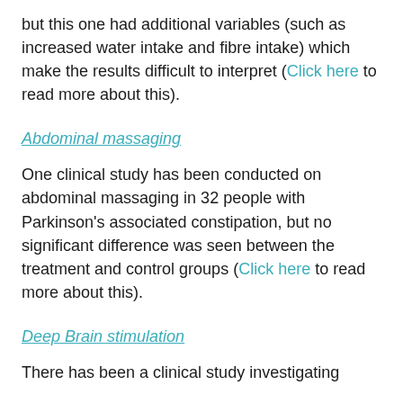but this one had additional variables (such as increased water intake and fibre intake) which make the results difficult to interpret (Click here to read more about this).
Abdominal massaging
One clinical study has been conducted on abdominal massaging in 32 people with Parkinson's associated constipation, but no significant difference was seen between the treatment and control groups (Click here to read more about this).
Deep Brain stimulation
There has been a clinical study investigating